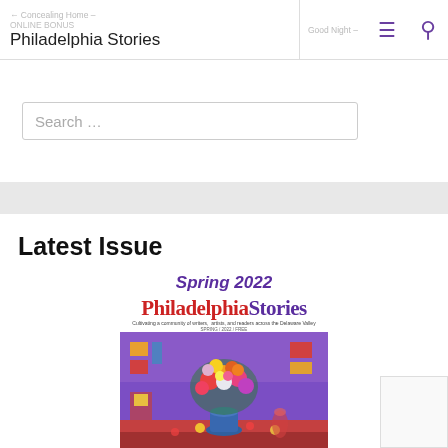← Concealing Home – ONLINE BONUS | Philadelphia Stories | ≡ | 🔍 | Good Night –
[Figure (screenshot): Search input box with placeholder text 'Search ...']
Latest Issue
[Figure (illustration): Philadelphia Stories Spring 2022 magazine cover showing colorful painting of flowers in a vase on a purple background with red, yellow, and green accents. Logo reads 'PhiladelphiaStories' in red with subtitle 'Cultivating a community of writers, artists, and readers across the Delaware Valley']